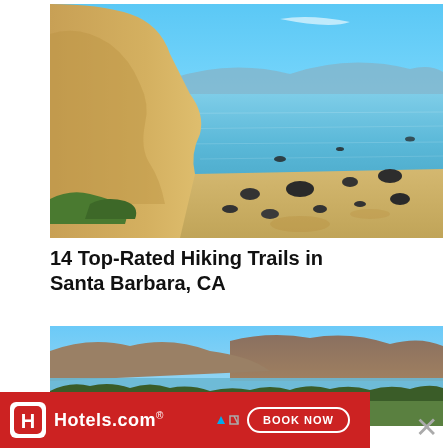[Figure (photo): Coastal cliff and beach scene in Santa Barbara, CA. Sandy beach with dark rocks, turquoise ocean water, sandy cliffs on the left, mountains in the background, and clear blue sky.]
14 Top-Rated Hiking Trails in Santa Barbara, CA
[Figure (photo): Aerial/elevated view of Santa Barbara coastline showing city with trees, ocean in the background and mountains, under a blue sky.]
[Figure (other): Hotels.com advertisement banner with red background, Hotels.com logo and icon, and a 'BOOK NOW' button.]